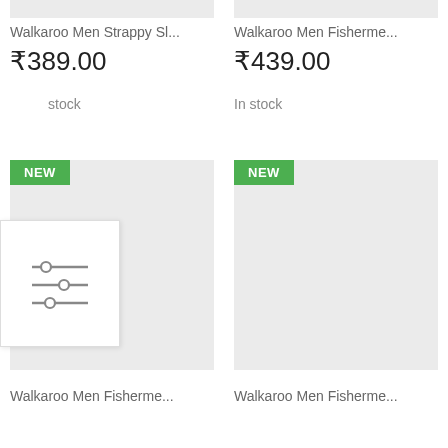[Figure (screenshot): Top partial product card image strip, grey rectangle, left column]
[Figure (screenshot): Top partial product card image strip, grey rectangle, right column]
Walkaroo Men Strappy Sl...
₹389.00
stock
Walkaroo Men Fisherme...
₹439.00
In stock
[Figure (infographic): Filter/sliders icon widget with three horizontal lines and circular slider handles]
[Figure (photo): Product image placeholder grey box with NEW badge, left column]
[Figure (photo): Product image placeholder grey box with NEW badge, right column]
Walkaroo Men Fisherme...
Walkaroo Men Fisherme...